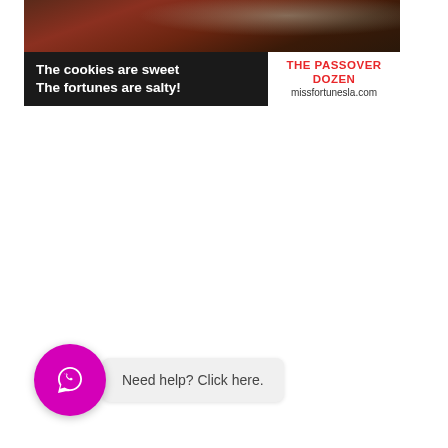[Figure (illustration): Advertisement banner for 'The Passover Dozen' from missfortunesla.com. Top portion shows a painted/illustrated image with figures in red robes. Bottom portion has dark background on left with white bold text 'The cookies are sweet / The fortunes are salty!' and a white box on right with red bold text 'THE PASSOVER DOZEN' and gray text 'missfortunesla.com'.]
Need help? Click here.